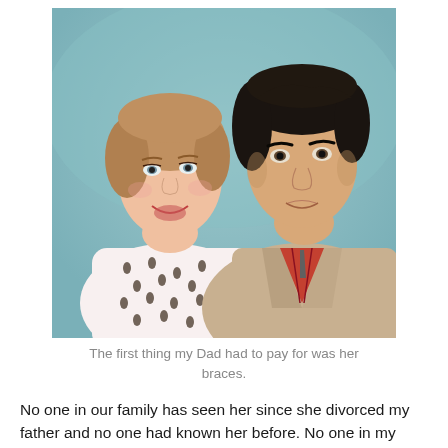[Figure (photo): Vintage color photograph of a young woman and a young man posed together. The woman has light brown hair styled up, wearing a white top with small dark leaf/floral print. The man has dark hair, wearing a tan jacket over a plaid shirt and tie. They are posed cheek to cheek against a teal/light blue background.]
The first thing my Dad had to pay for was her braces.
No one in our family has seen her since she divorced my father and no one had known her before. No one in my